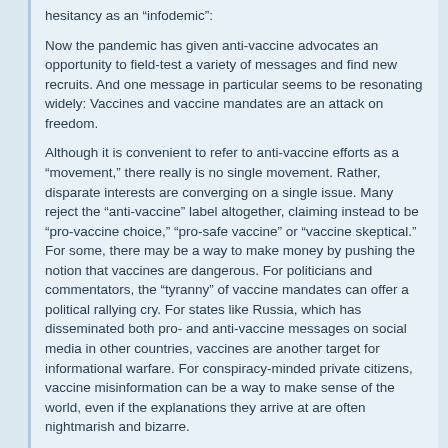hesitancy as an "infodemic":
Now the pandemic has given anti-vaccine advocates an opportunity to field-test a variety of messages and find new recruits. And one message in particular seems to be resonating widely: Vaccines and vaccine mandates are an attack on freedom.
Although it is convenient to refer to anti-vaccine efforts as a "movement," there really is no single movement. Rather, disparate interests are converging on a single issue. Many reject the “anti-vaccine” label altogether, claiming instead to be “pro-vaccine choice,” “pro-safe vaccine” or “vaccine skeptical.” For some, there may be a way to make money by pushing the notion that vaccines are dangerous. For politicians and commentators, the “tyranny” of vaccine mandates can offer a political rallying cry. For states like Russia, which has disseminated both pro- and anti-vaccine messages on social media in other countries, vaccines are another target for informational warfare. For conspiracy-minded private citizens, vaccine misinformation can be a way to make sense of the world, even if the explanations they arrive at are often nightmarish and bizarre.
“This is a deadly movement,” Peter Hotez told me. “With things like terrorism and nuclear proliferation, we have lots of infrastructure. For this, we don’t have anything.”
In 1904 the U.S. Supreme Court heard the case of Henning Jacobson, a Swedish immigrant and minister who refused to comply with a vaccine mandate in Massachusetts. He had been fined $5, equivalent to about $170 today. At issue was how much control states had over residents’ bodies. It was part of a fight that stretches back to the very first vaccine mandates, in the 19th century, and the backlashes they inspired. The arguments against mandatory vaccination th...